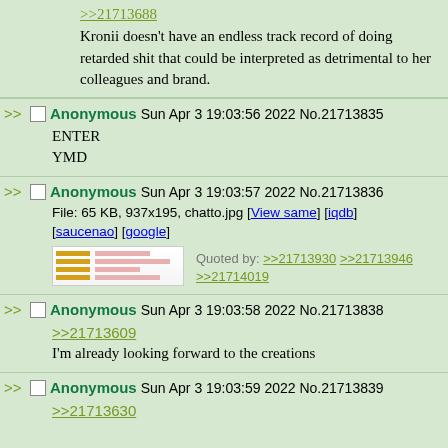>>21713688
Kronii doesn't have an endless track record of doing retarded shit that could be interpreted as detrimental to her colleagues and brand.
Anonymous Sun Apr 3 19:03:56 2022 No.21713835
ENTER
YMD
Anonymous Sun Apr 3 19:03:57 2022 No.21713836
File: 65 KB, 937x195, chatto.jpg [View same] [iqdb] [saucenao] [google]
Quoted by: >>21713930 >>21713946 >>21714019
Anonymous Sun Apr 3 19:03:58 2022 No.21713838
>>21713609
I'm already looking forward to the creations
Anonymous Sun Apr 3 19:03:59 2022 No.21713839
>>21713630